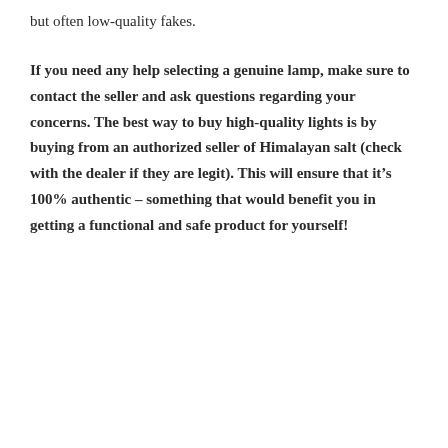but often low-quality fakes.
If you need any help selecting a genuine lamp, make sure to contact the seller and ask questions regarding your concerns. The best way to buy high-quality lights is by buying from an authorized seller of Himalayan salt (check with the dealer if they are legit). This will ensure that it’s 100% authentic – something that would benefit you in getting a functional and safe product for yourself!